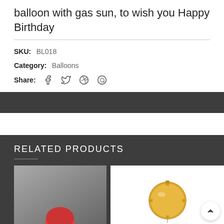balloon with gas sun, to wish you Happy Birthday
SKU: BL018
Category: Balloons
Share:
RELATED PRODUCTS
[Figure (photo): Product photo on gray background]
[Figure (photo): Product photo - gold balloon on white background]